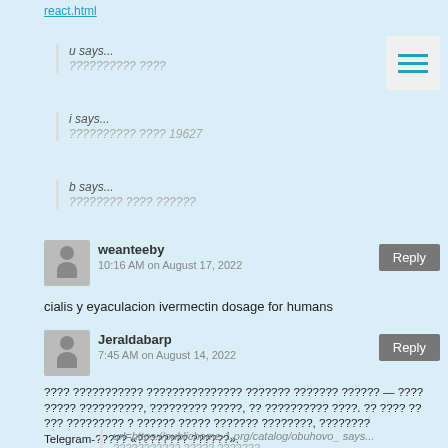react.html
u says...
?????????? ????
i says...
?????????? ???? 19627
b says...
???????? ???? ??????
weanteeby
10:16 AM on August 17, 2022
cialis y eyaculacion ivermectin dosage for humans
Jeraldabarp
7:45 AM on August 14, 2022
???? ??????????? ??????????????? ??????? ??????? ?????? — ???? ????? ??????????, ????????? ?????, ?? ?????????? ????. ?? ???? ?? ??? ????????? ? ?????? ????? ??????? ????????, ???????? Telegram-????? «???????? ??????».
url=https://publichome-1.org/catalog/obuhovo_ says...
??????????? ????? ???????